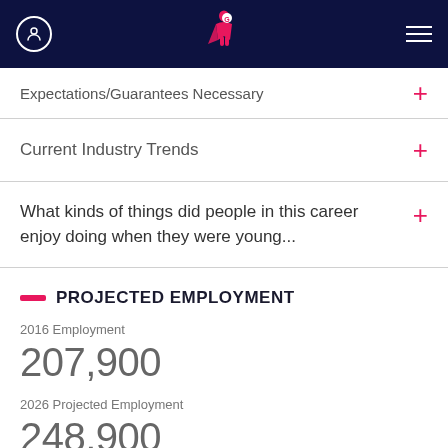Expectations/Guarantees Necessary
Current Industry Trends
What kinds of things did people in this career enjoy doing when they were young...
PROJECTED EMPLOYMENT
2016 Employment
207,900
2026 Projected Employment
248,900
JOBS BY ZipRecruiter